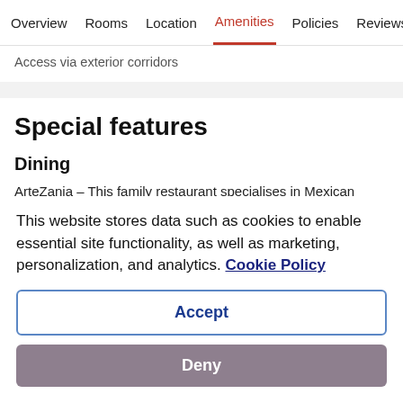Overview  Rooms  Location  Amenities  Policies  Reviews
Access via exterior corridors
Special features
Dining
ArteZania – This family restaurant specialises in Mexican cuisine and serves lunch and dinner. Guests can enjoy drinks at the bar. A
This website stores data such as cookies to enable essential site functionality, as well as marketing, personalization, and analytics. Cookie Policy
Accept
Deny